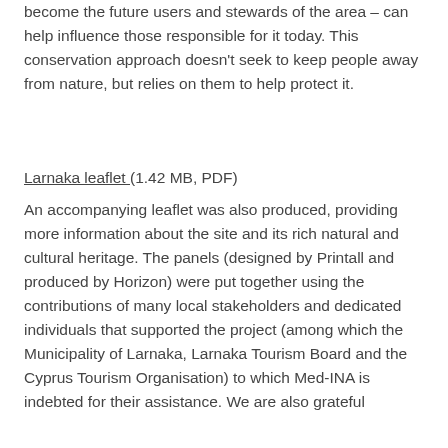become the future users and stewards of the area – can help influence those responsible for it today. This conservation approach doesn't seek to keep people away from nature, but relies on them to help protect it.
Larnaka leaflet (1.42 MB, PDF)
An accompanying leaflet was also produced, providing more information about the site and its rich natural and cultural heritage. The panels (designed by Printall and produced by Horizon) were put together using the contributions of many local stakeholders and dedicated individuals that supported the project (among which the Municipality of Larnaka, Larnaka Tourism Board and the Cyprus Tourism Organisation) to which Med-INA is indebted for their assistance. We are also grateful